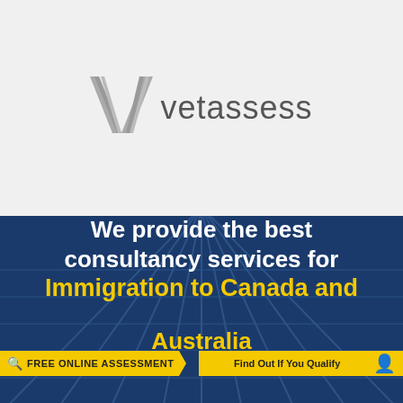[Figure (logo): Vetassess logo: stylized V mark in grey stripes followed by the word 'vetassess' in grey sans-serif text]
[Figure (infographic): Dark navy blue banner with building background. White bold text reads 'We provide the best consultancy services for' followed by yellow bold text 'Immigration to Canada and Australia'. A yellow banner bar at the bottom reads 'FREE ONLINE ASSESSMENT' with a magnifier icon and 'Find Out If You Qualify' text.]
We provide the best consultancy services for Immigration to Canada and Australia
FREE ONLINE ASSESSMENT   Find Out If You Qualify